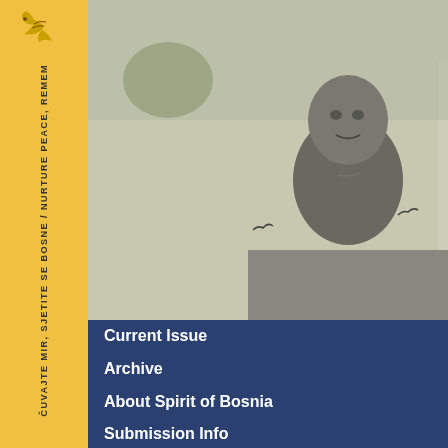[Figure (photo): Outdoor photograph of a stone/bronze bust sculpture of a man, with birds and trees visible in background]
Current Issue
Archive
About Spirit of Bosnia
Submission Info
Advisory Board
Founding Board
Contact
the real, deep models of th... entirely European: Russian... Kafka, Gide. I read the Jou... that if that is what it means... understand the vocation fro... But I think that I'm far more... than twentieth-century Ame... remarkable, for instance, B... said that Emerson was one... of Poe that he translated h... I care about more. For inst... never interested in either H... influential twentieth-century... minor writer; though I unde... come to a limited appreciat... Garcia Marquez, that I beg... contemporary writers, livin... take our system of grades...